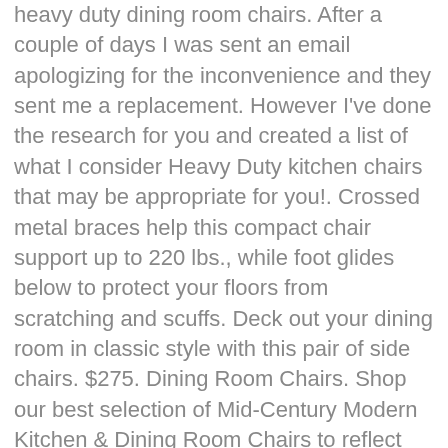heavy duty dining room chairs. After a couple of days I was sent an email apologizing for the inconvenience and they sent me a replacement. However I've done the research for you and created a list of what I consider Heavy Duty kitchen chairs that may be appropriate for you!. Crossed metal braces help this compact chair support up to 220 lbs., while foot glides below to protect your floors from scratching and scuffs. Deck out your dining room in classic style with this pair of side chairs. $275. Dining Room Chairs. Shop our best selection of Mid-Century Modern Kitchen & Dining Room Chairs to reflect your style and inspire your home. I initially bought it to use in my very small kitchen (I sit to prep and cook) but I've since moved to a new place with much more space, so I've moved this chair to my bathroom vanity. And the right gear. As being among the very best dining chairs for heavy people. This set of Riverside Coventry dining chairs enchants with the beautiful combination of bright wood and creamy white upholstery. This chair seats people comfortably at dining height. Dining chairs should be